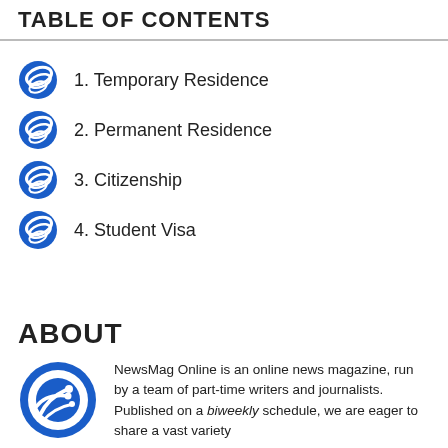TABLE OF CONTENTS
1. Temporary Residence
2. Permanent Residence
3. Citizenship
4. Student Visa
ABOUT
NewsMag Online is an online news magazine, run by a team of part-time writers and journalists. Published on a biweekly schedule, we are eager to share a vast variety